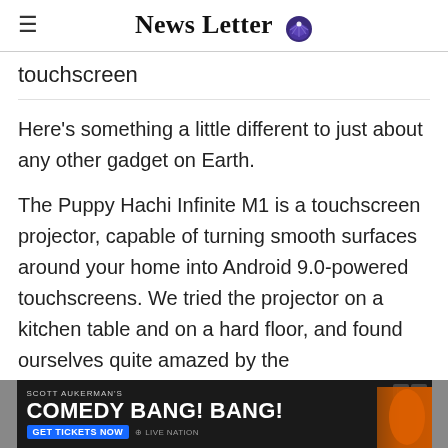News Letter
touchscreen
Here's something a little different to just about any other gadget on Earth.
The Puppy Hachi Infinite M1 is a touchscreen projector, capable of turning smooth surfaces around your home into Android 9.0-powered touchscreens. We tried the projector on a kitchen table and on a hard floor, and found ourselves quite amazed by the responsiveness of the screen, which we used to browse the web, play o
[Figure (other): Advertisement banner for Scott Aukerman's Comedy Bang! Bang! show with Get Tickets Now button and Live Nation branding]